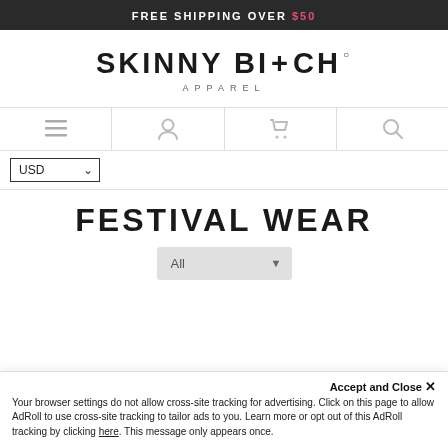FREE SHIPPING OVER $50
[Figure (logo): Skinny Bitch Apparel logo with large bold text and degree symbol]
[Figure (infographic): Navigation bar with menu, account, cart, and search icons]
USD (dropdown selector)
FESTIVAL WEAR
All (dropdown selector)
Accept and Close ✕
Your browser settings do not allow cross-site tracking for advertising. Click on this page to allow AdRoll to use cross-site tracking to tailor ads to you. Learn more or opt out of this AdRoll tracking by clicking here. This message only appears once.